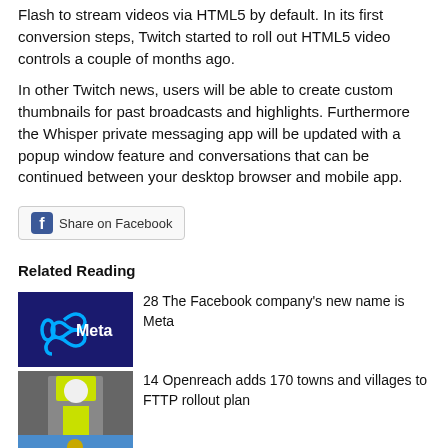Flash to stream videos via HTML5 by default. In its first conversion steps, Twitch started to roll out HTML5 video controls a couple of months ago.
In other Twitch news, users will be able to create custom thumbnails for past broadcasts and highlights. Furthermore the Whisper private messaging app will be updated with a popup window feature and conversations that can be continued between your desktop browser and mobile app.
[Figure (other): Share on Facebook button with Facebook logo icon]
Related Reading
[Figure (photo): Meta logo on dark blue background]
28 The Facebook company's new name is Meta
[Figure (photo): Worker in yellow vest and helmet, Openreach related]
14 Openreach adds 170 towns and villages to FTTP rollout plan
[Figure (photo): Golden justice statue against blue sky]